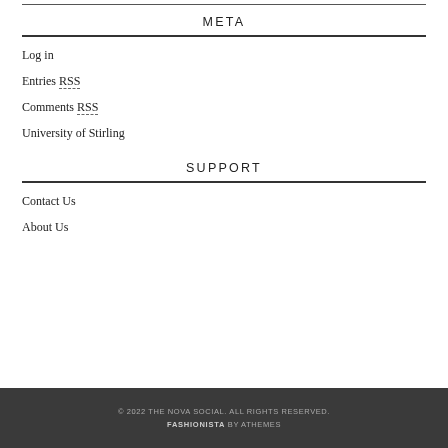META
Log in
Entries RSS
Comments RSS
University of Stirling
SUPPORT
Contact Us
About Us
© 2022 THE NOVA SOCIAL. ALL RIGHTS RESERVED. FASHIONISTA BY ATHEMES